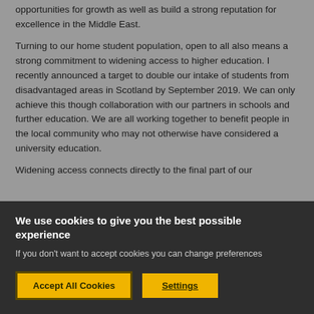opportunities for growth as well as build a strong reputation for excellence in the Middle East.
Turning to our home student population, open to all also means a strong commitment to widening access to higher education. I recently announced a target to double our intake of students from disadvantaged areas in Scotland by September 2019. We can only achieve this though collaboration with our partners in schools and further education. We are all working together to benefit people in the local community who may not otherwise have considered a university education.
Widening access connects directly to the final part of our
We use cookies to give you the best possible experience
If you don't want to accept cookies you can change preferences
Accept All Cookies
Settings